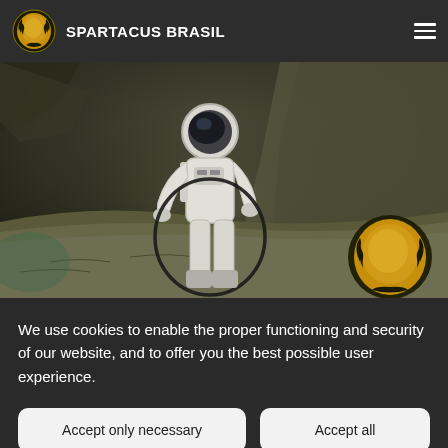SPARTACUS BRASIL
[Figure (photo): An astronaut in a white spacesuit standing on a rocky lunar/planetary surface, with a circular hoop. A gold-and-black emblem logo is visible in the lower right corner of the image.]
We use cookies to enable the proper functioning and security of our website, and to offer you the best possible user experience.
Accept only necessary
Accept all